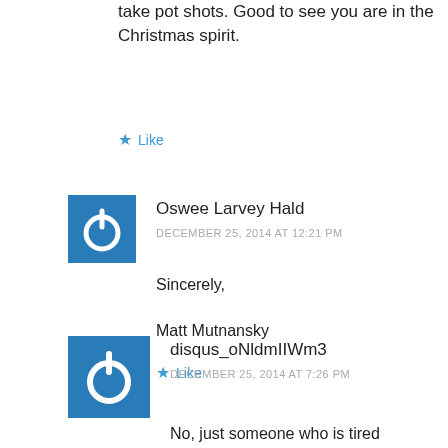take pot shots. Good to see you are in the Christmas spirit.
★ Like
Oswee Larvey Hald
DECEMBER 25, 2014 AT 12:21 PM
Sincerely,

Matt Mutnansky
★ Like
disqus_oNldmIIWm3
DECEMBER 25, 2014 AT 7:26 PM
No, just someone who is tired